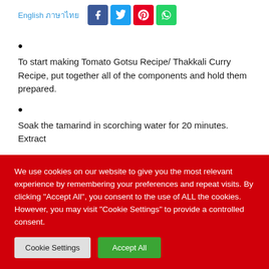English ภาษาไทย
To start making Tomato Gotsu Recipe/ Thakkali Curry Recipe, put together all of the components and hold them prepared.
Soak the tamarind in scorching water for 20 minutes. Extract
We use cookies on our website to give you the most relevant experience by remembering your preferences and repeat visits. By clicking "Accept All", you consent to the use of ALL the cookies. However, you may visit "Cookie Settings" to provide a controlled consent.